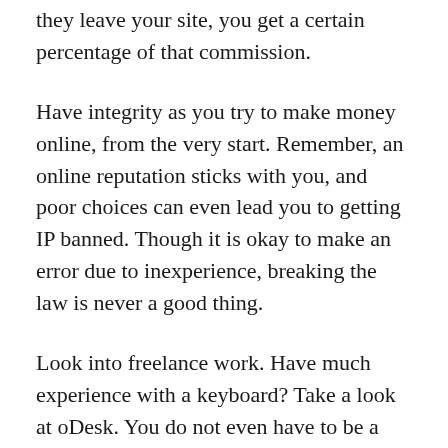they leave your site, you get a certain percentage of that commission.
Have integrity as you try to make money online, from the very start. Remember, an online reputation sticks with you, and poor choices can even lead you to getting IP banned. Though it is okay to make an error due to inexperience, breaking the law is never a good thing.
Look into freelance work. Have much experience with a keyboard? Take a look at oDesk. You do not even have to be a great writer. It can be tedious, but it may also be profitable.
Do what you like to do and make money. Some online sites offer points to do online searches or for buying and